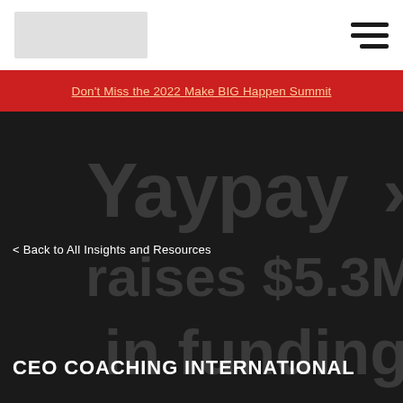[Figure (logo): CEO Coaching International logo placeholder in white nav bar]
Don't Miss the 2022 Make BIG Happen Summit
[Figure (illustration): Dark background hero image showing Yaypay logo watermark with text 'raises $5.3M in funding']
< Back to All Insights and Resources
CEO COACHING INTERNATIONAL